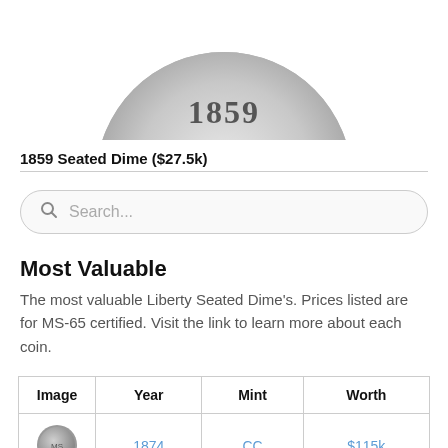[Figure (photo): Close-up of the bottom portion of an 1859 Seated Dime coin showing the date 1859]
1859 Seated Dime ($27.5k)
Search...
Most Valuable
The most valuable Liberty Seated Dime's. Prices listed are for MS-65 certified. Visit the link to learn more about each coin.
| Image | Year | Mint | Worth |
| --- | --- | --- | --- |
| [coin image] | 1874 | CC | $115k |
| [coin image] | 1872 | CC | $85k |